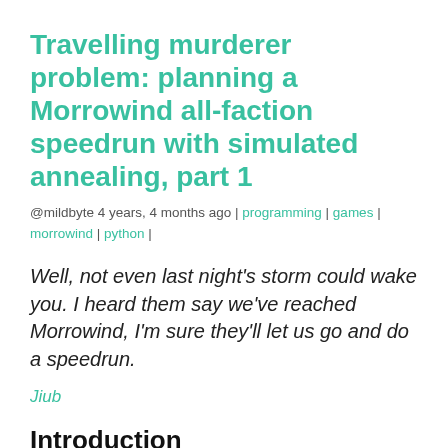Travelling murderer problem: planning a Morrowind all-faction speedrun with simulated annealing, part 1
@mildbyte 4 years, 4 months ago | programming | games | morrowind | python |
Well, not even last night's storm could wake you. I heard them say we've reached Morrowind, I'm sure they'll let us go and do a speedrun.
Jiub
Introduction